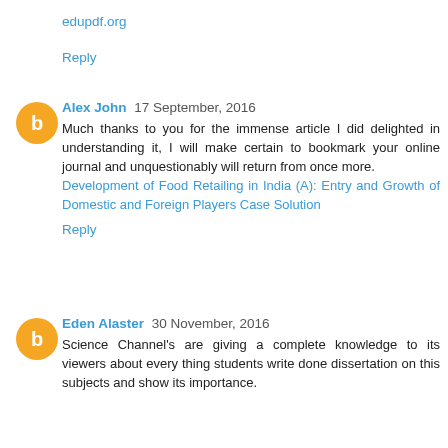edupdf.org
Reply
Alex John 17 September, 2016
Much thanks to you for the immense article I did delighted in understanding it, I will make certain to bookmark your online journal and unquestionably will return from once more.
Development of Food Retailing in India (A): Entry and Growth of Domestic and Foreign Players Case Solution
Reply
Eden Alaster 30 November, 2016
Science Channel's are giving a complete knowledge to its viewers about every thing students write done dissertation on this subjects and show its importance.